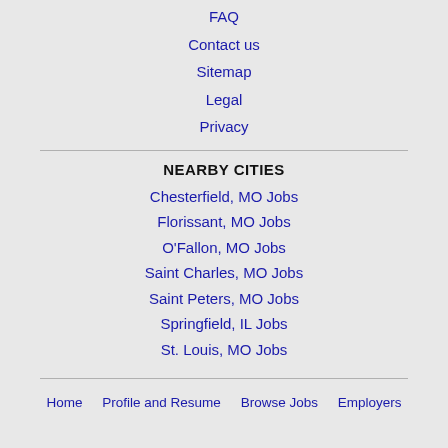FAQ
Contact us
Sitemap
Legal
Privacy
NEARBY CITIES
Chesterfield, MO Jobs
Florissant, MO Jobs
O'Fallon, MO Jobs
Saint Charles, MO Jobs
Saint Peters, MO Jobs
Springfield, IL Jobs
St. Louis, MO Jobs
Home   Profile and Resume   Browse Jobs   Employers